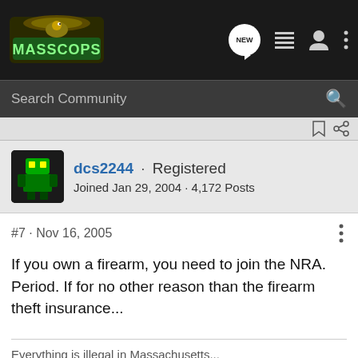[Figure (screenshot): MassCops forum website navigation bar with logo, NEW bubble icon, list icon, user icon, and dots menu icon on dark background]
[Figure (screenshot): Search Community search bar on dark gray background with magnifying glass icon]
dcs2244 · Registered
Joined Jan 29, 2004 · 4,172 Posts
#7 · Nov 16, 2005
If you own a firearm, you need to join the NRA. Period. If for no other reason than the firearm theft insurance...
Everything is illegal in Massachusetts...
[Figure (logo): Charles Daly brand logo in bold serif font on gray background]